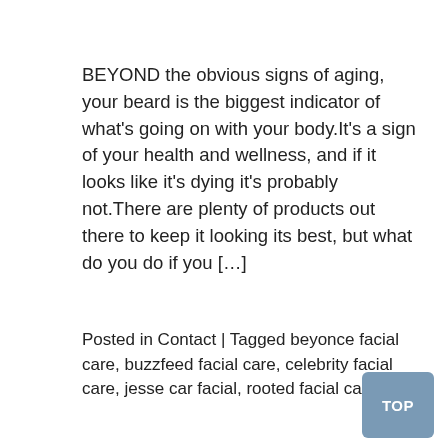BEYOND the obvious signs of aging, your beard is the biggest indicator of what's going on with your body.It's a sign of your health and wellness, and if it looks like it's dying it's probably not.There are plenty of products out there to keep it looking its best, but what do you do if you […]
Posted in Contact | Tagged beyonce facial care, buzzfeed facial care, celebrity facial care, jesse car facial, rooted facial care
CARBON FLEXING CARE: What you need to know